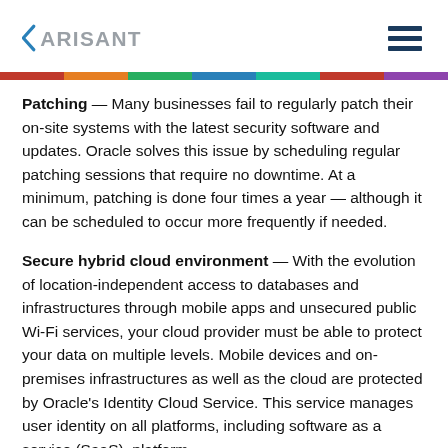ARISANT
Patching — Many businesses fail to regularly patch their on-site systems with the latest security software and updates. Oracle solves this issue by scheduling regular patching sessions that require no downtime. At a minimum, patching is done four times a year — although it can be scheduled to occur more frequently if needed.
Secure hybrid cloud environment — With the evolution of location-independent access to databases and infrastructures through mobile apps and unsecured public Wi-Fi services, your cloud provider must be able to protect your data on multiple levels. Mobile devices and on-premises infrastructures as well as the cloud are protected by Oracle's Identity Cloud Service. This service manages user identity on all platforms, including software as a service (SaaS), platform